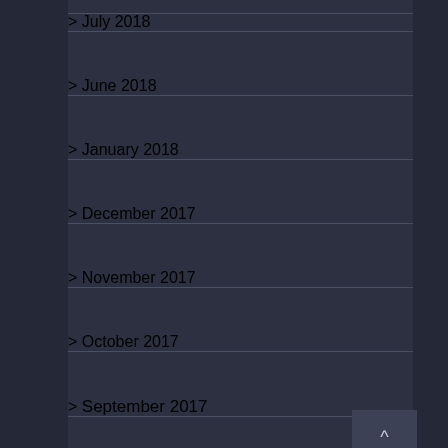> July 2018
> June 2018
> January 2018
> December 2017
> November 2017
> October 2017
> September 2017
> July 2017